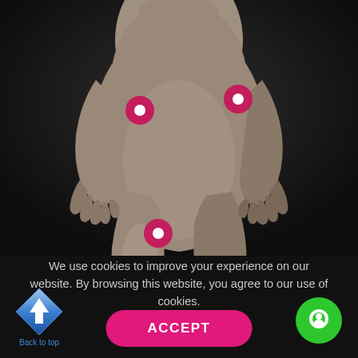[Figure (illustration): 3D rendered human body (lower torso, hips, legs and hands) shown from the front against a dark background. Three circular red markers with white centers are placed on the wrist/hand area (left), hip/groin area (right), and left knee area.]
We use cookies to improve your experience on our website. By browsing this website, you agree to our use of cookies.
[Figure (illustration): Blue diamond-shaped upward arrow icon labeled 'Back to top']
Back to top
ACCEPT
[Figure (illustration): Green circular chat/messenger button icon]